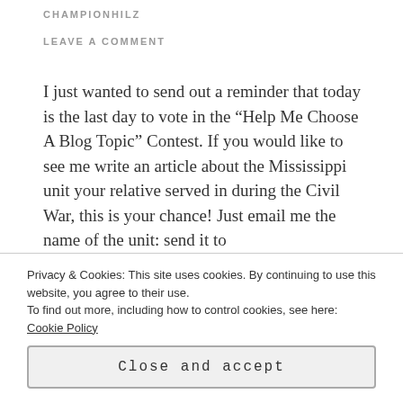CHAMPIONHILZ
LEAVE A COMMENT
I just wanted to send out a reminder that today is the last day to vote in the “Help Me Choose A Blog Topic” Contest. If you would like to see me write an article about the Mississippi unit your relative served in during the Civil War, this is your chance! Just email me the name of the unit: send it to championhilz@att.net. You can only choose ONE unit, and all entries must be in before midnight tonight. Tomorrow I will put all the names in a hat
Privacy & Cookies: This site uses cookies. By continuing to use this website, you agree to their use.
To find out more, including how to control cookies, see here: Cookie Policy
Close and accept